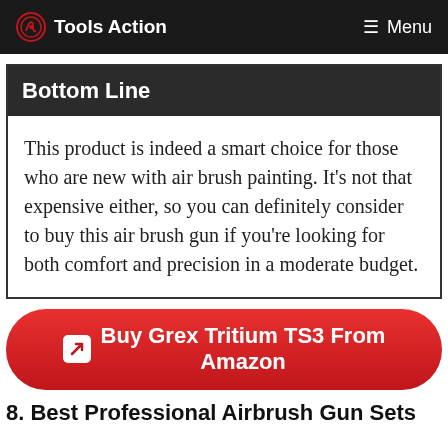Tools Action  Menu
Bottom Line
This product is indeed a smart choice for those who are new with air brush painting. It’s not that expensive either, so you can definitely consider to buy this air brush gun if you’re looking for both comfort and precision in a moderate budget.
Buy Grex Tritium TS3 From Amazon
8. Best Professional Airbrush Gun Sets